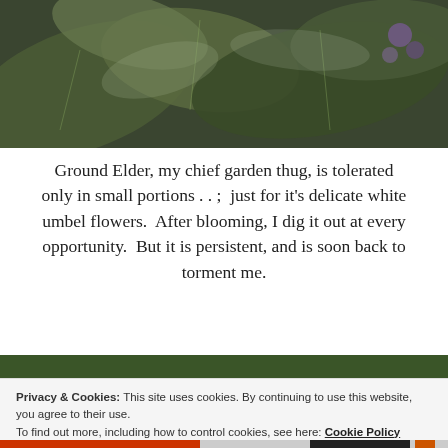[Figure (photo): Close-up photo of dark green and silvery-grey leaves, likely a plant in a garden, with hints of purple flowers in the background.]
Ground Elder, my chief garden thug, is tolerated only in small portions . . .  just for it's delicate white umbel flowers.  After blooming, I dig it out at every opportunity.  But it is persistent, and is soon back to torment me.
[Figure (photo): Photo of white umbel flowers (Ground Elder) with purple flowers visible in the background, set against a green garden backdrop.]
Privacy & Cookies: This site uses cookies. By continuing to use this website, you agree to their use.
To find out more, including how to control cookies, see here: Cookie Policy
Close and accept